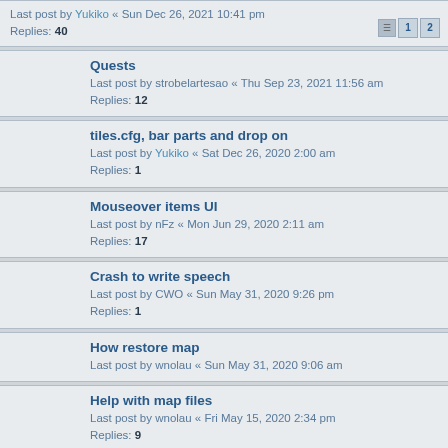Last post by Yukiko « Sun Dec 26, 2021 10:41 pm
Replies: 40
Quests
Last post by strobelartesao « Thu Sep 23, 2021 11:56 am
Replies: 12
tiles.cfg, bar parts and drop on
Last post by Yukiko « Sat Dec 26, 2020 2:00 am
Replies: 1
Mouseover items UI
Last post by nFz « Mon Jun 29, 2020 2:11 am
Replies: 17
Crash to write speech
Last post by CWO « Sun May 31, 2020 9:26 pm
Replies: 1
How restore map
Last post by wnolau « Sun May 31, 2020 9:06 am
Help with map files
Last post by wnolau « Fri May 15, 2020 2:34 pm
Replies: 9
Getting staiox.mul files converter to older formats
Last post by Yukiko « Wed Mar 18, 2020 5:07 pm
Replies: 1
strange armor value
Last post by Yukiko « Wed Mar 11, 2020 8:19 am
Replies: 3
Print and Broadcast do not work in this method.
Last post by Yukiko « Thu Feb 20, 2020 7:54 am